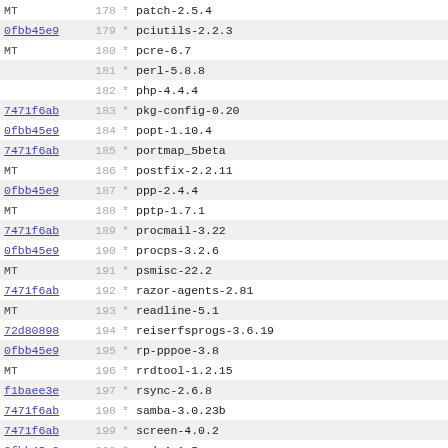MT 178 * patch-2.5.4
0fbb45e9 179 * pciutils-2.2.3
MT 180 * pcre-6.7
181 * perl-5.8.8
182 * php-4.4.4
7471f6ab 183 * pkg-config-0.20
0fbb45e9 184 * popt-1.10.4
7471f6ab 185 * portmap_5beta
MT 186 * postfix-2.2.11
0fbb45e9 187 * ppp-2.4.4
MT 188 * pptp-1.7.1
7471f6ab 189 * procmail-3.22
0fbb45e9 190 * procps-3.2.6
MT 191 * psmisc-22.2
7471f6ab 192 * razor-agents-2.81
MT 193 * readline-5.1
72d80898 194 * reiserfsprogs-3.6.19
0fbb45e9 195 * rp-pppoe-3.8
MT 196 * rrdtool-1.2.15
f1baee3e 197 * rsync-2.6.8
7471f6ab 198 * samba-3.0.23b
7471f6ab 199 * screen-4.0.2
0fbb45e9 200 * sed-4.1.5
7471f6ab 201 * setserial-2.17
0fbb45e9 202 * shadow-4.0.15
MT 203 * slang-2.0.6
7471f6ab 204 * smartmontools-5.36
MT 205 * snort-2.3.3
206 * sox-12.18.1
0fbb45e9 207 * spandsp-0.0.3pre24
7471f6ab 208 * squid-2.6.STABLE3
MT 209 * squid-graph-3.1
210 * squidGuard-1.2.0